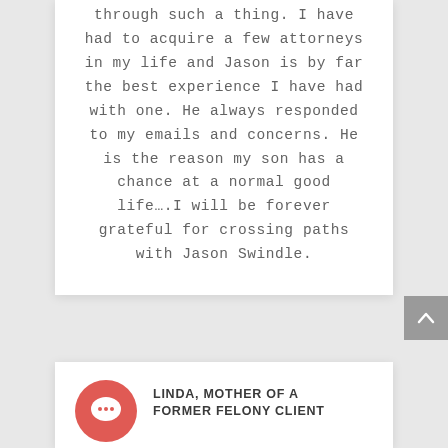through such a thing. I have had to acquire a few attorneys in my life and Jason is by far the best experience I have had with one. He always responded to my emails and concerns. He is the reason my son has a chance at a normal good life….I will be forever grateful for crossing paths with Jason Swindle.
[Figure (illustration): Coral/red circular avatar icon with a speech bubble chat symbol in white]
LINDA, MOTHER OF A FORMER FELONY CLIENT